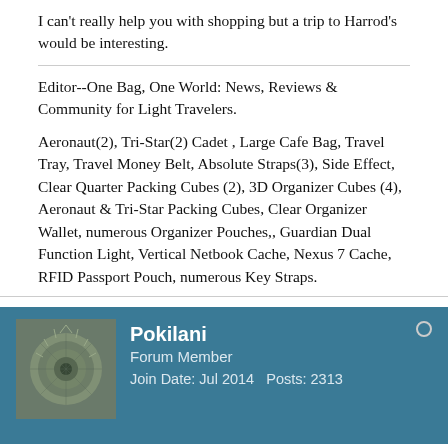I can't really help you with shopping but a trip to Harrod's would be interesting.
Editor--One Bag, One World: News, Reviews & Community for Light Travelers.
Aeronaut(2), Tri-Star(2) Cadet , Large Cafe Bag, Travel Tray, Travel Money Belt, Absolute Straps(3), Side Effect, Clear Quarter Packing Cubes (2), 3D Organizer Cubes (4), Aeronaut & Tri-Star Packing Cubes, Clear Organizer Wallet, numerous Organizer Pouches,, Guardian Dual Function Light, Vertical Netbook Cache, Nexus 7 Cache, RFID Passport Pouch, numerous Key Straps.
Pokilani
Forum Member
Join Date: Jul 2014   Posts: 2313
08-11-2014, 02:10 PM
#5
Originally posted by Frank II